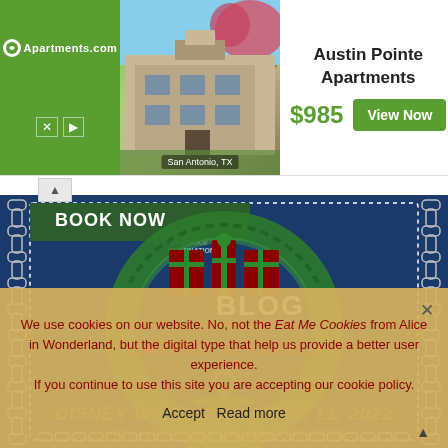[Figure (infographic): Apartments.com advertisement banner showing Austin Pointe Apartments in San Antonio TX with photo of building and trees, price $985 and View Now button]
[Figure (infographic): DCL Blog Group Cruise advertisement with Christmas wreath, anchor, and gift boxes logo on dark blue background with chain border and 'BOOK NOW' banner from Storybook Destinations]
We use cookies on our website. No, not the Eat Me Cookies from Alice in Wonderland, but the digital type that help us provide a better user experience. If you continue to use this site you are accepting our cookie policy.
Accept   Read more